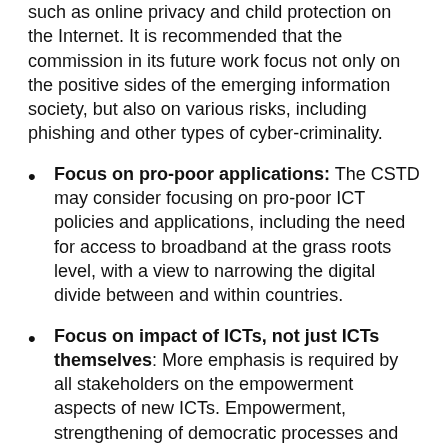such as online privacy and child protection on the Internet. It is recommended that the commission in its future work focus not only on the positive sides of the emerging information society, but also on various risks, including phishing and other types of cyber-criminality.
Focus on pro-poor applications: The CSTD may consider focusing on pro-poor ICT policies and applications, including the need for access to broadband at the grass roots level, with a view to narrowing the digital divide between and within countries.
Focus on impact of ICTs, not just ICTs themselves: More emphasis is required by all stakeholders on the empowerment aspects of new ICTs. Empowerment, strengthening of democratic processes and ICTs in education should be priority themes for the CSTD. More attention should also be given by all stakeholders to the potential contributions of ICTs towards the